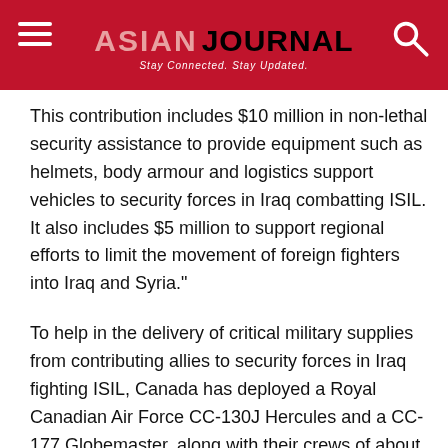ASIAN JOURNAL — Stay Connected. Stay Updated.
This contribution includes $10 million in non-lethal security assistance to provide equipment such as helmets, body armour and logistics support vehicles to security forces in Iraq combatting ISIL. It also includes $5 million to support regional efforts to limit the movement of foreign fighters into Iraq and Syria."
To help in the delivery of critical military supplies from contributing allies to security forces in Iraq fighting ISIL, Canada has deployed a Royal Canadian Air Force CC-130J Hercules and a CC-177 Globemaster, along with their crews of about 30 Canadian Armed Forces personnel. This measure is in addition to the $5 million humanitarian assistance package Canada has already provided to the